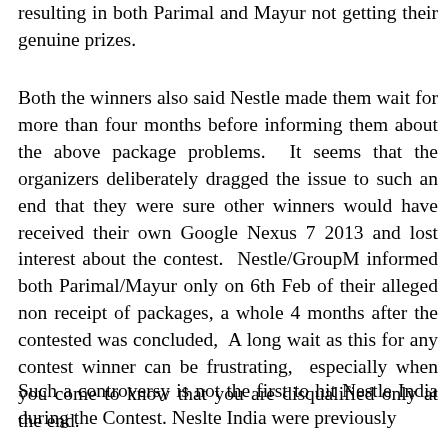resulting in both Parimal and Mayur not getting their genuine prizes.
Both the winners also said Nestle made them wait for more than four months before informing them about the above package problems.  It seems that the organizers deliberately dragged the issue to such an end that they were sure other winners would have received their own Google Nexus 7 2013 and lost interest about the contest.  Nestle/GroupM informed both Parimal/Mayur only on 6th Feb of their alleged non receipt of packages, a whole 4 months after the contested was concluded,  A long wait as this for any contest winner can be frustrating,  especially when you come to know that you are disqualified only at the end.
Such a controversy is not the first to hit Nestle India during the Contest. Neslte India were previously